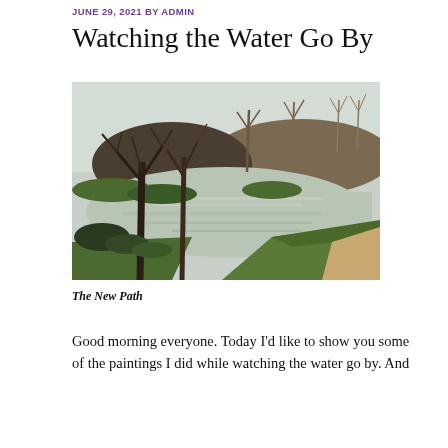JUNE 29, 2021 BY ADMIN
Watching the Water Go By
[Figure (illustration): Oil painting of a river landscape with bare trees in the foreground, green shrubs along the riverbanks, rolling brown hills in the background, and a pale sky. A dirt path runs along the lower right bank.]
The New Path
Good morning everyone. Today I'd like to show you some of the paintings I did while watching the water go by. And